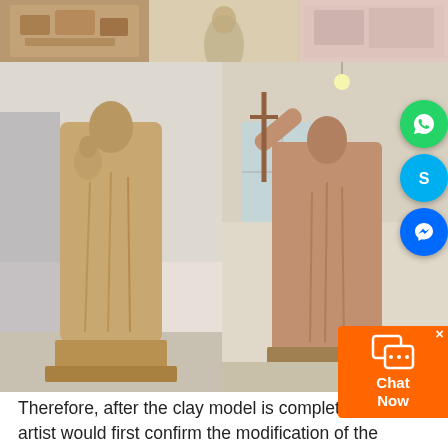[Figure (photo): Top strip of three small photos showing clay sculpture work in progress]
[Figure (photo): Left: large clay statue of a robed figure holding a child, in a workshop setting]
[Figure (photo): Right: large clay statue of a robed bishop-like figure with raised arm holding a staff, in a workshop setting with social media icons overlay (WhatsApp, Skype, Messenger)]
Therefore, after the clay model is completed, artist would first confirm the modification of the clay model on the basis of the original work. Then